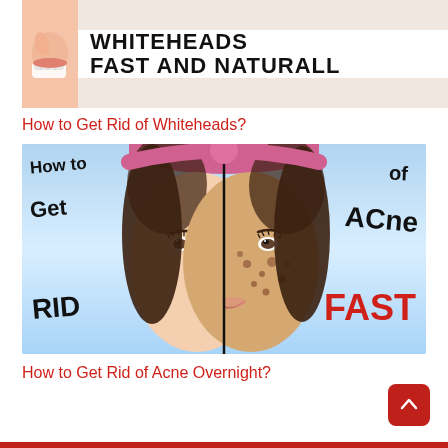[Figure (photo): Promotional image showing a close-up of a face with text 'WHITEHEADS FAST AND NATURALL' in bold black letters on white background, with a small image of a woman's smiling face on the left]
How to Get Rid of Whiteheads?
[Figure (photo): Before/after split image of a woman's face showing acne vs clear skin, with overlaid text: 'How to Get RID' on the left side and 'of ACNE FAST' on the right side, on a light blue background]
How to Get Rid of Acne Overnight?